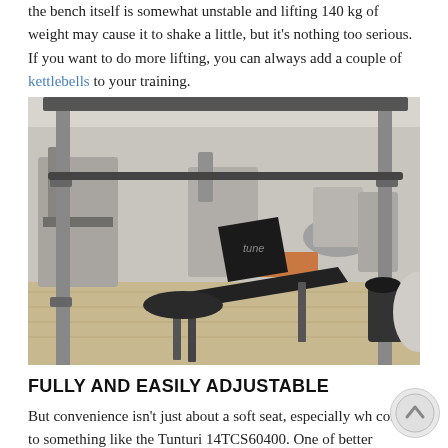the bench itself is somewhat unstable and lifting 140 kg of weight may cause it to shake a little, but it's nothing too serious. If you want to do more lifting, you can always add a couple of kettlebells to your training.
[Figure (photo): Photo of a gym interior showing a weight bench and power rack in the foreground with various exercise equipment in the background including treadmills and other machines on a light wood floor.]
FULLY AND EASILY ADJUSTABLE
But convenience isn't just about a soft seat, especially wh comes to something like the Tunturi 14TCS60400. One of better features that this model offers is the ability to adjust practically every part of it separately. Do you want to move the back of the bench, changing the angle to fit your needs